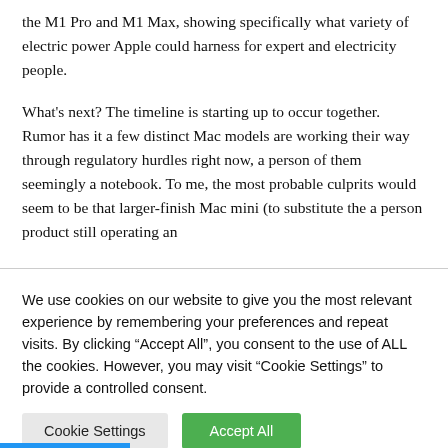the M1 Pro and M1 Max, showing specifically what variety of electric power Apple could harness for expert and electricity people.
What's next? The timeline is starting up to occur together. Rumor has it a few distinct Mac models are working their way through regulatory hurdles right now, a person of them seemingly a notebook. To me, the most probable culprits would seem to be that larger-finish Mac mini (to substitute the a person product still operating an
We use cookies on our website to give you the most relevant experience by remembering your preferences and repeat visits. By clicking "Accept All", you consent to the use of ALL the cookies. However, you may visit "Cookie Settings" to provide a controlled consent.